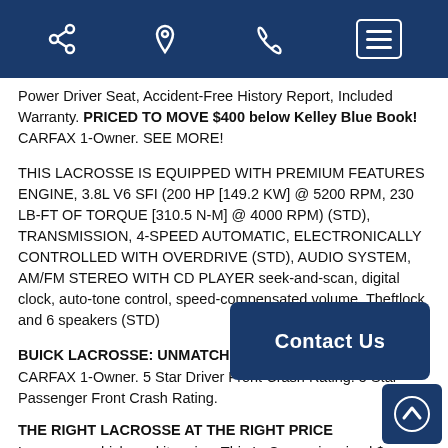Navigation bar with share, location, phone icons and menu button
Power Driver Seat, Accident-Free History Report, Included Warranty. PRICED TO MOVE $400 below Kelley Blue Book! CARFAX 1-Owner. SEE MORE!
THIS LACROSSE IS EQUIPPED WITH PREMIUM FEATURES ENGINE, 3.8L V6 SFI (200 HP [149.2 KW] @ 5200 RPM, 230 LB-FT OF TORQUE [310.5 N-M] @ 4000 RPM) (STD), TRANSMISSION, 4-SPEED AUTOMATIC, ELECTRONICALLY CONTROLLED WITH OVERDRIVE (STD), AUDIO SYSTEM, AM/FM STEREO WITH CD PLAYER seek-and-scan, digital clock, auto-tone control, speed-compensated volume, Theftlock and 6 speakers (STD)
BUICK LACROSSE: UNMATCHED RELIABILITY
CARFAX 1-Owner. 5 Star Driver Front Crash Rating. 5 Star Passenger Front Crash Rating.
THE RIGHT LACROSSE AT THE RIGHT PRICE
Love your vehicle and its price. This LaCrosse is priced $